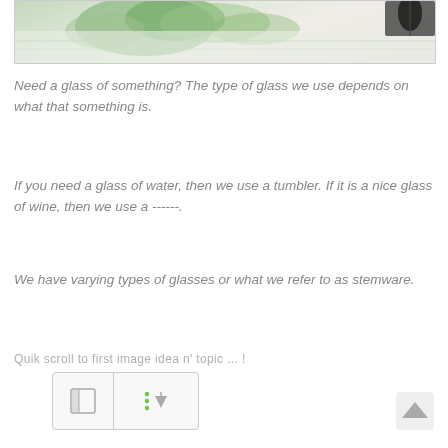[Figure (photo): Partial photo showing green leaves/vines and white/light-colored background with a wooden surface, appearing to be a wine or nature-themed decorative image.]
Need a glass of something? The type of glass we use depends on what that something is.
If you need a glass of water, then we use a tumbler. If it is a nice glass of wine, then we use a ------.
We have varying types of glasses or what we refer to as stemware.
Quik scroll to first image idea n' topic ... !
[Figure (screenshot): Two small UI buttons side by side: left button shows a panel/sidebar icon, right button shows dots and a download/scroll arrow icon.]